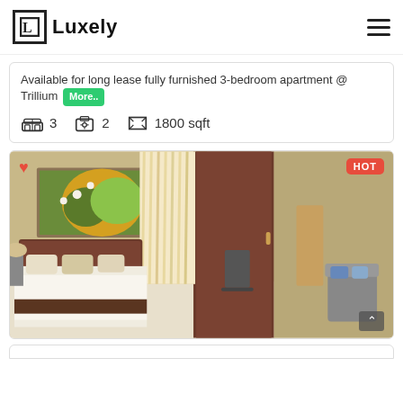Luxely
Available for long lease fully furnished 3-bedroom apartment @ Trillium More..
3  2  1800 sqft
[Figure (photo): Interior photo of a furnished bedroom with a large bed, decorative painting on the wall, sheer curtains, wooden wardrobe, and a sitting area. HOT badge in top-right corner, heart icon in top-left corner.]